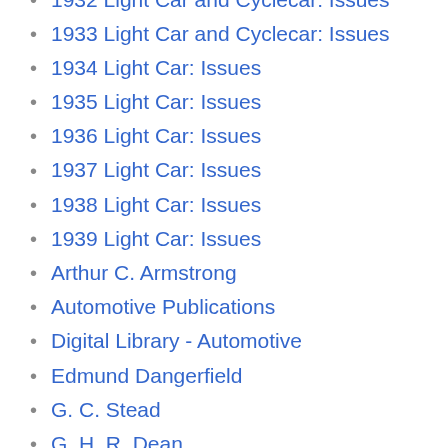1932 Light Car and Cyclecar: Issues
1933 Light Car and Cyclecar: Issues
1934 Light Car: Issues
1935 Light Car: Issues
1936 Light Car: Issues
1937 Light Car: Issues
1938 Light Car: Issues
1939 Light Car: Issues
Arthur C. Armstrong
Automotive Publications
Digital Library - Automotive
Edmund Dangerfield
G. C. Stead
G. H. R. Dean
John Gilpin
L. Graham Davies
Main Page
Periodicals
Temple Press